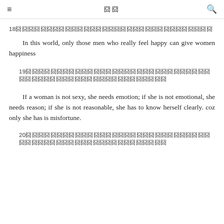≡  囧囧  🔍
18囧囧囧囧囧囧囧囧囧囧囧囧囧囧囧囧囧囧囧囧囧囧囧囧囧囧囧囧囧囧囧囧
In this world, only those men who really feel happy can give women happiness
19囧囧囧囧囧囧囧囧囧囧囧囧囧囧囧囧囧囧囧囧囧囧囧囧囧囧囧囧囧囧囧囧囧囧囧囧囧囧囧囧囧囧囧囧囧囧囧囧囧囧囧囧囧囧
If a woman is not sexy, she needs emotion; if she is not emotional, she needs reason; if she is not reasonable, she has to know herself clearly. coz only she has is misfortune.
20囧囧囧囧囧囧囧囧囧囧囧囧囧囧囧囧囧囧囧囧囧囧囧囧囧囧囧囧囧囧囧囧囧囧囧囧囧囧囧囧囧囧囧囧囧囧囧囧囧囧囧囧囧囧